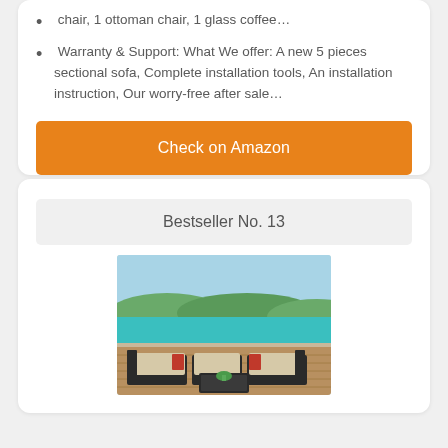chair, 1 ottoman chair, 1 glass coffee…
Warranty & Support: What We offer: A new 5 pieces sectional sofa, Complete installation tools, An installation instruction, Our worry-free after sale…
Check on Amazon
Bestseller No. 13
[Figure (photo): Outdoor patio sectional sofa set with brown wicker, beige cushions and red accent pillows, arranged by a swimming pool with green trees in background]